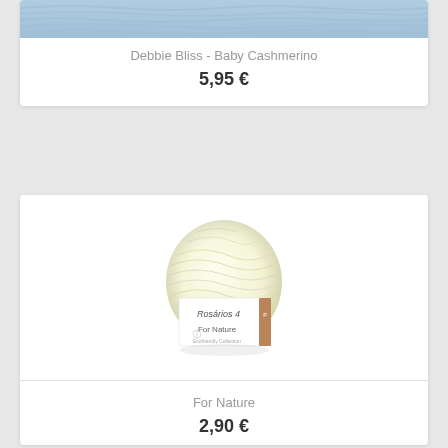[Figure (photo): Partial view of blue yarn ball (top of card cropped at top of page)]
Debbie Bliss - Baby Cashmerino
5,95 €
[Figure (photo): Ball of pale yellow/cream yarn with Rosarios 4 For Nature label]
For Nature
2,90 €